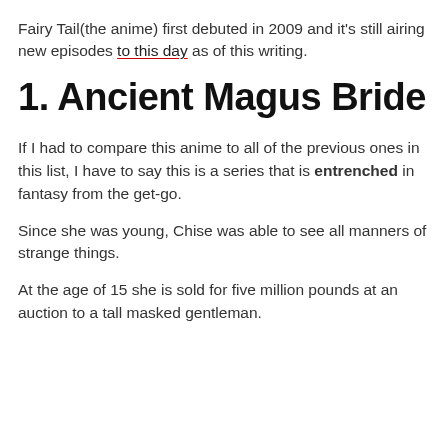Fairy Tail(the anime) first debuted in 2009 and it's still airing new episodes to this day as of this writing.
1. Ancient Magus Bride
If I had to compare this anime to all of the previous ones in this list, I have to say this is a series that is entrenched in fantasy from the get-go.
Since she was young, Chise was able to see all manners of strange things.
At the age of 15 she is sold for five million pounds at an auction to a tall masked gentleman.